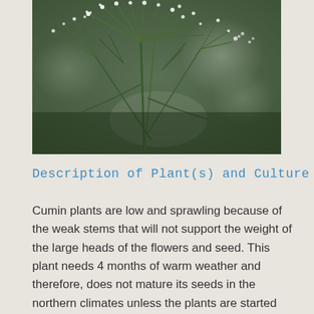[Figure (photo): Close-up photograph of a cumin plant with fine feathery green leaves and small white flower clusters against a blurred background]
Description of Plant(s) and Culture
Cumin plants are low and sprawling because of the weak stems that will not support the weight of the large heads of the flowers and seed. This plant needs 4 months of warm weather and therefore, does not mature its seeds in the northern climates unless the plants are started indoors. When they are planted outside, the seed is sown 16 to 20 seeds per foot and